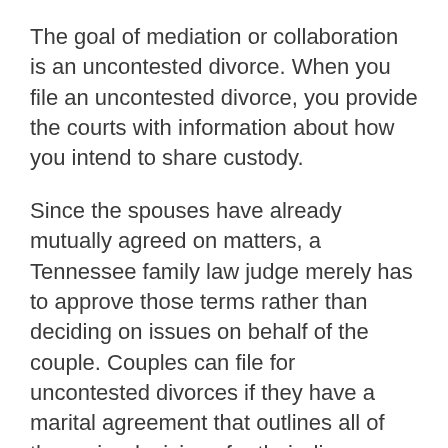The goal of mediation or collaboration is an uncontested divorce. When you file an uncontested divorce, you provide the courts with information about how you intend to share custody.
Since the spouses have already mutually agreed on matters, a Tennessee family law judge merely has to approve those terms rather than deciding on issues on behalf of the couple. Couples can file for uncontested divorces if they have a marital agreement that outlines all of the major decisions for their divorce.
Knowing the different ways to handle your divorce can help you find a solution that will protect you during this difficult time.